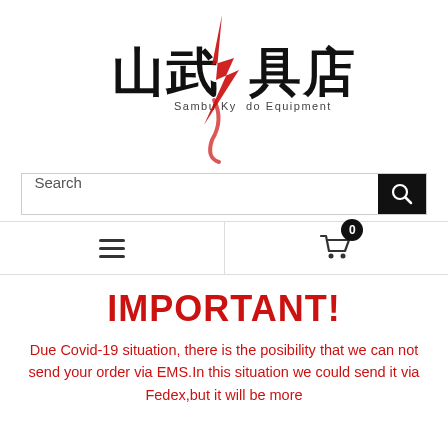[Figure (logo): Sambu Kyudo Equipment logo with Japanese kanji characters and a red brushstroke design]
[Figure (screenshot): Search bar with text 'Search' and a black search button with magnifying glass icon]
[Figure (screenshot): Navigation bar with hamburger menu on left and shopping cart icon with badge showing 0 on right]
IMPORTANT!
Due Covid-19 situation, there is the posibility that we can not send your order via EMS.In this situation we could send it via Fedex,but it will be more